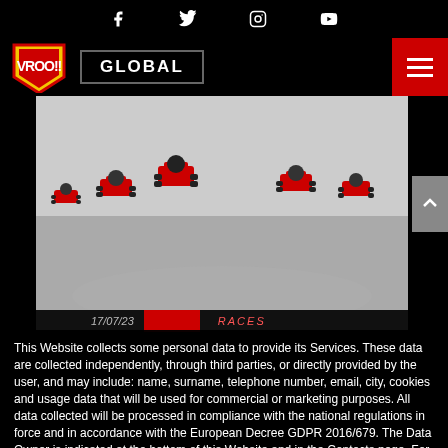VROO!! GLOBAL [navigation with social icons: Facebook, Twitter, Instagram, YouTube]
[Figure (photo): Go-kart racing photo showing multiple red karts on a track]
17/07/23   RACES
This Website collects some personal data to provide its Services. These data are collected independently, through third parties, or directly provided by the user, and may include: name, surname, telephone number, email, city, cookies and usage data that will be used for commercial or marketing purposes. All data collected will be processed in compliance with the national regulations in force and in accordance with the European Decree GDPR 2016/679. The Data Owner is indicated at the bottom of this Website and in the Contacts page. For more information read the extensive privacy policy, to deny consent in whole or in part click "COOKIE PREFERENCES". COOKIE PREFERENCES
AGREE   No, thanks
[Figure (photo): WWW.GALITTAKART.IT website banner with go-kart imagery]